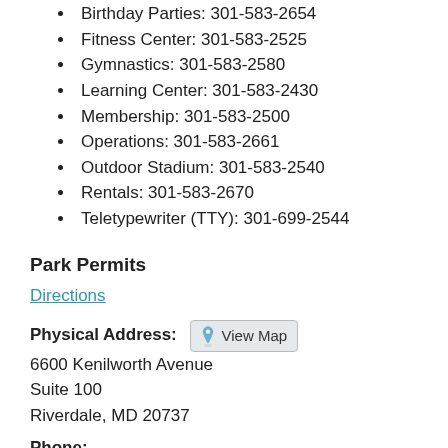Birthday Parties: 301-583-2654
Fitness Center: 301-583-2525
Gymnastics: 301-583-2580
Learning Center: 301-583-2430
Membership: 301-583-2500
Operations: 301-583-2661
Outdoor Stadium: 301-583-2540
Rentals: 301-583-2670
Teletypewriter (TTY): 301-699-2544
Park Permits
Directions
Physical Address: [View Map button] 6600 Kenilworth Avenue Suite 100 Riverdale, MD 20737
Phone: 301-699-2400
Email Park Permits